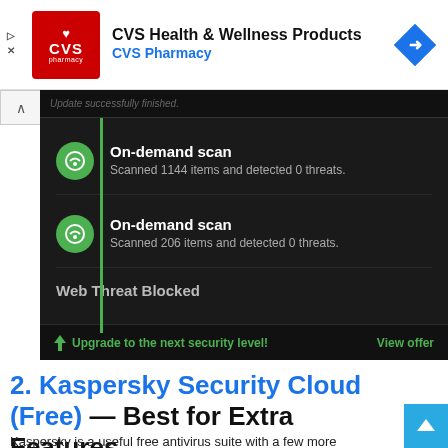[Figure (screenshot): CVS Health & Wellness Products advertisement banner with CVS Pharmacy logo and blue arrow navigation icon]
[Figure (screenshot): Kaspersky antivirus application screenshot showing on-demand scan results: 1144 items scanned, 0 threats detected; second scan of 206 items, 0 threats; Web Threat Blocked entry; green upgrade bar at bottom]
2. Kaspersky Security Cloud (Free) — Best for Extra Features
Kaspersky is a useful free antivirus suite with a few more